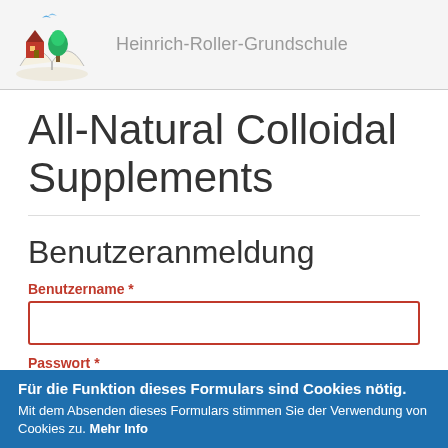Heinrich-Roller-Grundschule
All-Natural Colloidal Supplements
Benutzeranmeldung
Benutzername *
Passwort *
Für die Funktion dieses Formulars sind Cookies nötig. Mit dem Absenden dieses Formulars stimmen Sie der Verwendung von Cookies zu. Mehr Info